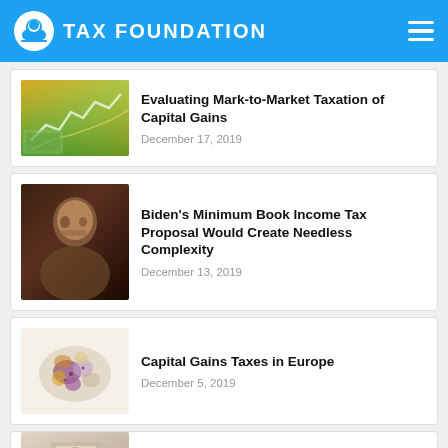TAX FOUNDATION
Evaluating Mark-to-Market Taxation of Capital Gains
December 17, 2019
Biden's Minimum Book Income Tax Proposal Would Create Needless Complexity
December 13, 2019
Capital Gains Taxes in Europe
December 5, 2019
Comparing Capital Gains Tax